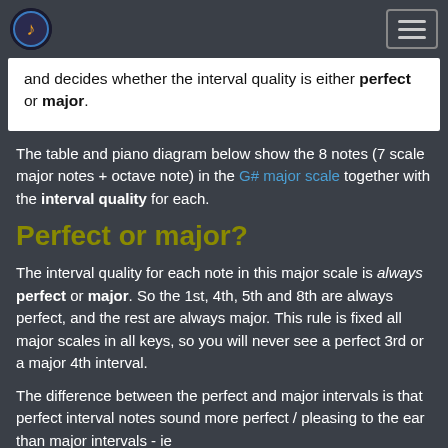[Logo] [Hamburger menu]
and decides whether the interval quality is either perfect or major.
The table and piano diagram below show the 8 notes (7 scale major notes + octave note) in the G# major scale together with the interval quality for each.
Perfect or major?
The interval quality for each note in this major scale is always perfect or major. So the 1st, 4th, 5th and 8th are always perfect, and the rest are always major. This rule is fixed all major scales in all keys, so you will never see a perfect 3rd or a major 4th interval.
The difference between the perfect and major intervals is that perfect interval notes sound more perfect / pleasing to the ear than major intervals - ie